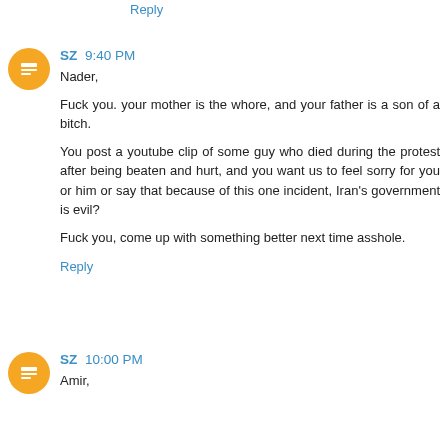Reply
SZ 9:40 PM
Nader,

Fuck you. your mother is the whore, and your father is a son of a bitch.

You post a youtube clip of some guy who died during the protest after being beaten and hurt, and you want us to feel sorry for you or him or say that because of this one incident, Iran's government is evil?

Fuck you, come up with something better next time asshole.
Reply
SZ 10:00 PM
Amir,